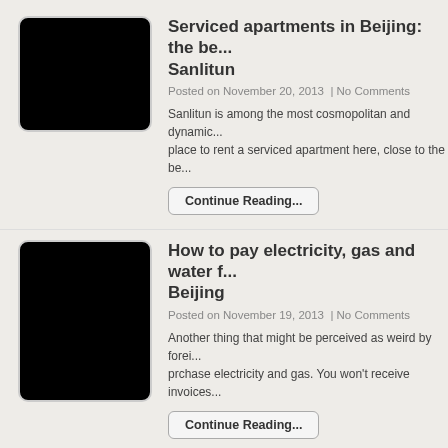[Figure (photo): Black thumbnail image for first article]
Serviced apartments in Beijing: the be... Sanlitun
Posted on November 20, 2013  | No Comments
Sanlitun is among the most cosmopolitan and dynamic... place to rent a serviced apartment here, close to the be...
Continue Reading...
[Figure (photo): Black thumbnail image for second article]
How to pay electricity, gas and water f... Beijing
Posted on November 19, 2013  | No Comments
Another thing that might be perceived as weird by forei... prchase electricity and gas. You won't receive invoices...
Continue Reading...
[Figure (photo): Black thumbnail image for third article]
How to turn on the heating systems in...
Posted on November 18, 2013  | No Comments
For westerners, there is something unusual in the way... China. The Chinese economy has still remains of planit...